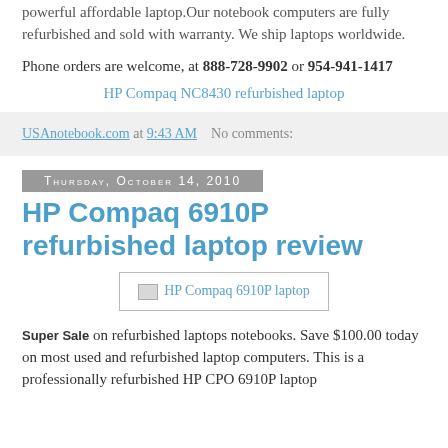powerful affordable laptop.Our notebook computers are fully refurbished and sold with warranty. We ship laptops worldwide.
Phone orders are welcome, at 888-728-9902 or 954-941-1417
HP Compaq NC8430 refurbished laptop
USAnotebook.com at 9:43 AM   No comments:
Thursday, October 14, 2010
HP Compaq 6910P refurbished laptop review
[Figure (photo): HP Compaq 6910P laptop image placeholder]
Super Sale on refurbished laptops notebooks. Save $100.00 today on most used and refurbished laptop computers. This is a professionally refurbished HP CPO 6910P laptop